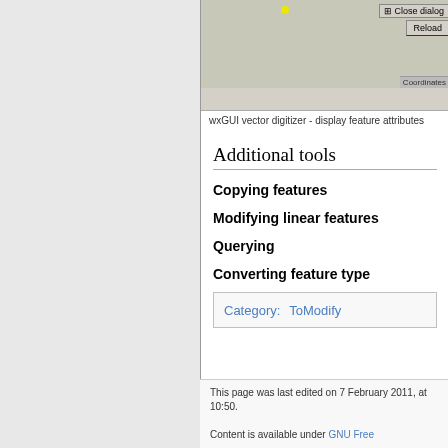[Figure (screenshot): wxGUI vector digitizer screenshot showing a dialog with Close dialog and Reload buttons, and a Coordinates bar at the bottom. A yellow dot is visible in the upper area.]
wxGUI vector digitizer - display feature attributes
Additional tools
Copying features
Modifying linear features
Querying
Converting feature type
Category:  ToModify
This page was last edited on 7 February 2011, at 10:50.

Content is available under GNU Free